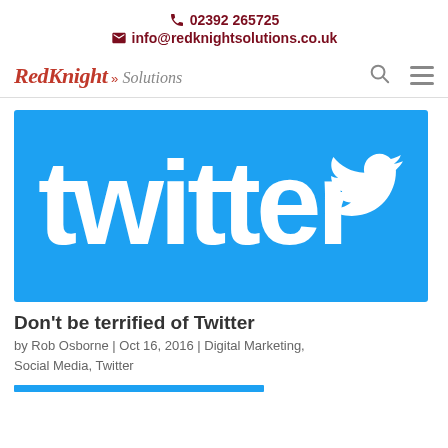02392 265725
info@redknightsolutions.co.uk
[Figure (logo): RedKnight Solutions logo with search and hamburger menu icons]
[Figure (illustration): Twitter logo on blue background with white Twitter wordmark and bird icon]
Don't be terrified of Twitter
by Rob Osborne | Oct 16, 2016 | Digital Marketing, Social Media, Twitter